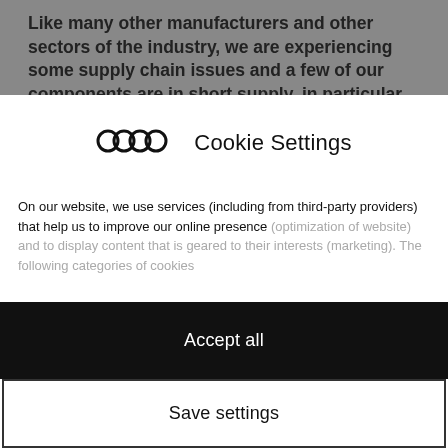Like many other manufacturers and other sectors of the industry, we are experiencing some supply chain issues and a few of our components are in short supply, in particular those relating to semiconductor chips which has caused...
[Figure (logo): Audi four-rings logo followed by 'Cookie Settings' text header]
Cookie Settings
On our website, we use services (including from third-party providers) that help us to improve our online presence (optimization of website) and to display content that is geared to their interests (marketing). The following categories of cookies...
Accept all
Save settings